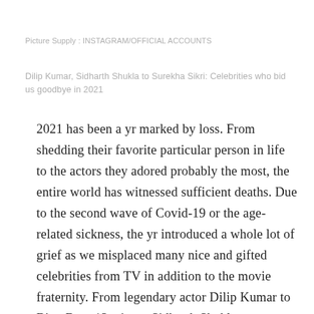Picture Supply : INSTAGRAM/OFFICIAL ACCOUNTS
Dilip Kumar, Sidharth Shukla to Surekha Sikri: Celebrities who bid us goodbye in 2021
2021 has been a yr marked by loss. From shedding their favorite particular person in life to the actors they adored probably the most, the entire world has witnessed sufficient deaths. Due to the second wave of Covid-19 or the age-related sickness, the yr introduced a whole lot of grief as we misplaced many nice and gifted celebrities from TV in addition to the movie fraternity. From legendary actor Dilip Kumar to Bigg Boss 13 winner Sidharth Shukla, many celebrities bid us goodbye in 2021.